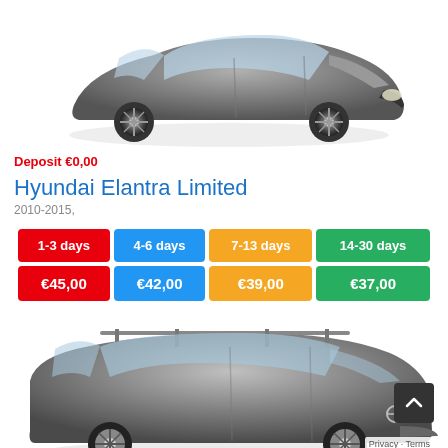[Figure (photo): Front view of a dark gray Hyundai Elantra sedan car]
Deposit €0,00
Hyundai Elantra Limited
2010-2015,
| 1-3 days | 4-6 days | 7-13 days | 14-30 days |
| --- | --- | --- | --- |
| €45,00 | €42,00 | €39,00 | €37,00 |
[Figure (photo): Front-side view of a dark gray Nissan SUV/truck]